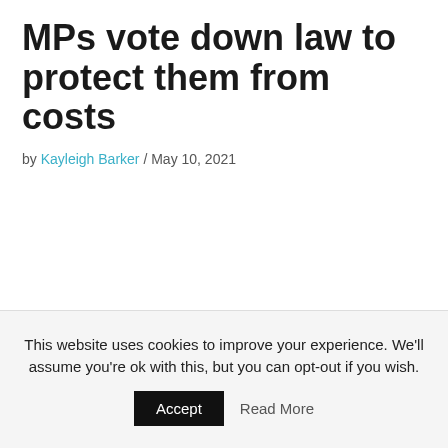MPs vote down law to protect them from costs
by Kayleigh Barker / May 10, 2021
This website uses cookies to improve your experience. We'll assume you're ok with this, but you can opt-out if you wish. Accept Read More